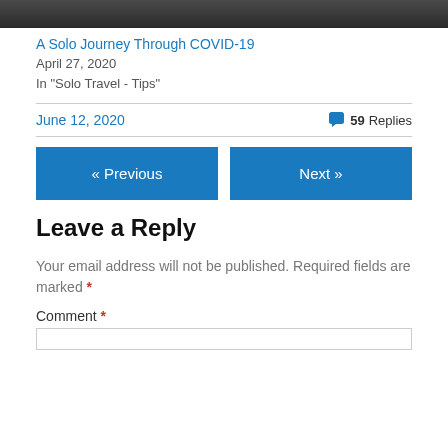[Figure (photo): Cropped top of a photograph, dark tones, partial view]
A Solo Journey Through COVID-19
April 27, 2020
In "Solo Travel - Tips"
June 12, 2020    💬 59 Replies
« Previous
Next »
Leave a Reply
Your email address will not be published. Required fields are marked *
Comment *